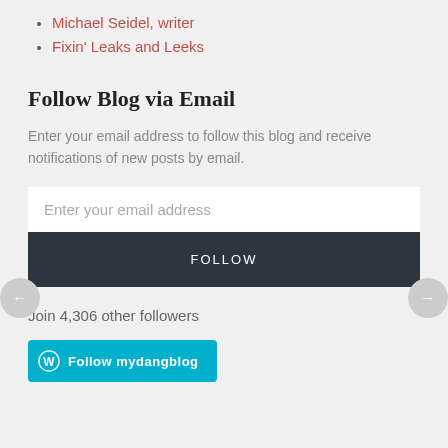Michael Seidel, writer
Fixin' Leaks and Leeks
Follow Blog via Email
Enter your email address to follow this blog and receive notifications of new posts by email.
Enter your email address
FOLLOW
Join 4,306 other followers
Follow mydangblog